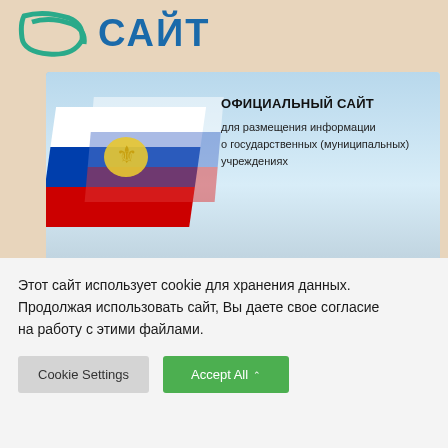[Figure (screenshot): Website header with green logo (partial, cut off at top) on beige background - Russian government website]
[Figure (screenshot): Banner: Official site for placement of information about state (municipal) institutions, with Russian flag and coat of arms illustration on blue-sky background]
[Figure (screenshot): Banner: Памятные даты (Memorable dates) with red notebook, gold rings, scroll decoration and orange-black striped border]
Этот сайт использует cookie для хранения данных. Продолжая использовать сайт, Вы даете свое согласие на работу с этими файлами.
Cookie Settings | Accept All